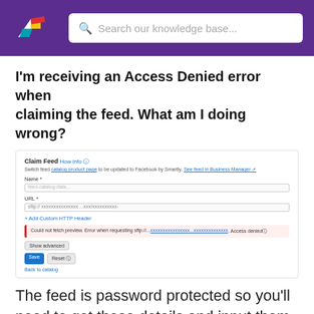Search our knowledge base...
I'm receiving an Access Denied error when claiming the feed. What am I doing wrong?
[Figure (screenshot): Screenshot of Facebook Business Manager 'Claim Feed' UI showing a form with Name and URL fields, an 'Add Custom HTTP Header' link, a red error bar reading 'Could not fetch preview. Error when requesting sftp://... Access denied', and buttons for Show advanced, Save, Reset, and Back to catalog.]
The feed is password protected so you'll need to get those details and input them into the URL field in the following format:
sftp://username:password@ftp_f